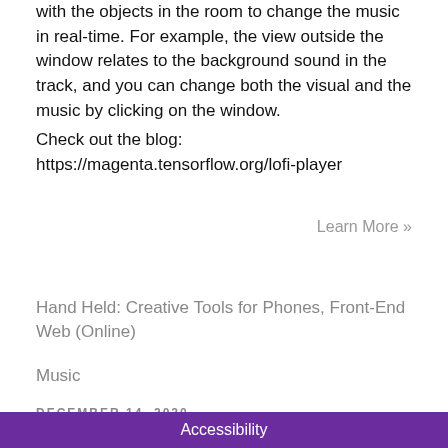with the objects in the room to change the music in real-time. For example, the view outside the window relates to the background sound in the track, and you can change both the visual and the music by clicking on the window.
Check out the blog:
https://magenta.tensorflow.org/lofi-player
Learn More »
Hand Held: Creative Tools for Phones, Front-End Web (Online)
Music
DECEMBER 14, 2020
Accessibility